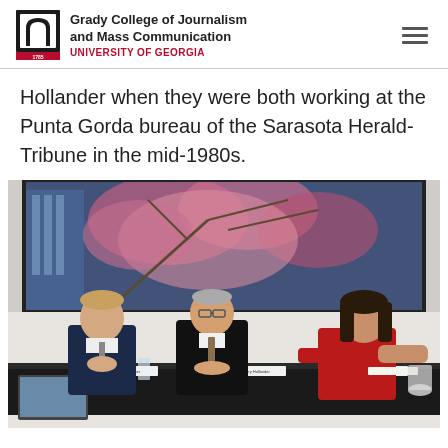Grady College of Journalism and Mass Communication — UNIVERSITY OF GEORGIA
Hollander when they were both working at the Punta Gorda bureau of the Sarasota Herald-Tribune in the mid-1980s.
[Figure (photo): Three people seated at a conference table during a panel discussion. A man on the left in a suit listens with his hands clasped. A man in the center in a black suit and tie sits attentively. A woman on the right in a red top gestures while speaking. Behind them is a large video wall displaying flowering trees.]